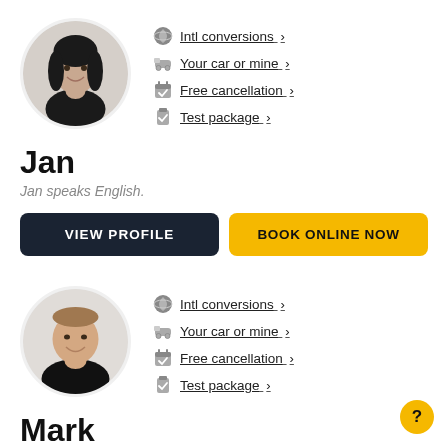[Figure (photo): Circular avatar photo of Jan, a woman with dark hair, smiling]
Intl conversions >
Your car or mine >
Free cancellation >
Test package >
Jan
Jan speaks English.
VIEW PROFILE
BOOK ONLINE NOW
[Figure (photo): Circular avatar photo of Mark, a man with short hair, smiling]
Intl conversions >
Your car or mine >
Free cancellation >
Test package >
Mark